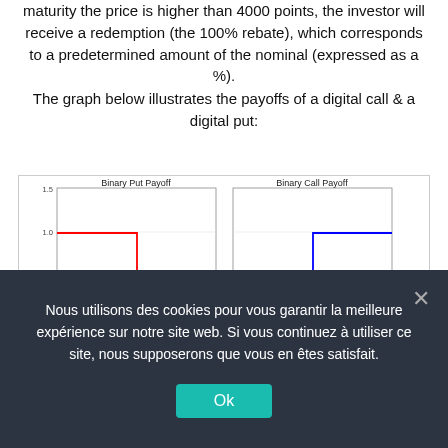maturity the price is higher than 4000 points, the investor will receive a redemption (the 100% rebate), which corresponds to a predetermined amount of the nominal (expressed as a %).
The graph below illustrates the payoffs of a digital call & a digital put:
[Figure (continuous-plot): Two side-by-side step plots: Left plot titled 'Binary Put Payoff' shows a red step function at y=1.0 for x=0 to 40, dropping to y=0.0 for x=40 to 80. Right plot titled 'Binary Call Payoff' shows a blue step function at y=0.0 for x=0 to 40, rising to y=1.0 for x=40 to 80. Both plots have y-axis range from -0.5 to 1.5 and x-axis from 0 to 80.]
Nous utilisons des cookies pour vous garantir la meilleure expérience sur notre site web. Si vous continuez à utiliser ce site, nous supposerons que vous en êtes satisfait.